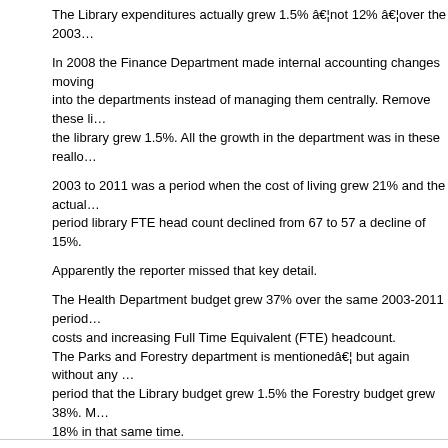The Library expenditures actually grew 1.5% â€¦not 12% â€¦over the 2003…
In 2008 the Finance Department made internal accounting changes moving… into the departments instead of managing them centrally. Remove these li… the library grew 1.5%. All the growth in the department was in these realloca…
2003 to 2011 was a period when the cost of living grew 21% and the actual… period library FTE head count declined from 67 to 57 a decline of 15%.
Apparently the reporter missed that key detail.
The Health Department budget grew 37% over the same 2003-2011 period… costs and increasing Full Time Equivalent (FTE) headcount.
The Parks and Forestry department is mentionedâ€¦ but again without any… period that the Library budget grew 1.5% the Forestry budget grew 38%. M… 18% in that same time.
Apparently the reporter did not find these details relevant.
Contrary to the suggestion in the article it is not hard to understand why tho… concerned about the future â€¦when the actual numbers are reported.
For the complete details, seeÂ Myths and Truths here.